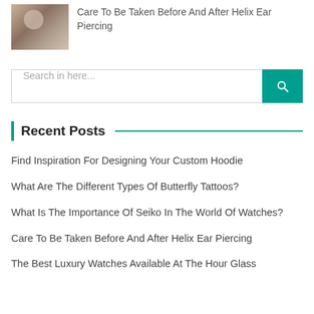[Figure (photo): Thumbnail photo of a woman posing, used as article image]
Care To Be Taken Before And After Helix Ear Piercing
[Figure (other): Search bar with text 'Search in here...' and a teal search button with magnifying glass icon]
Recent Posts
Find Inspiration For Designing Your Custom Hoodie
What Are The Different Types Of Butterfly Tattoos?
What Is The Importance Of Seiko In The World Of Watches?
Care To Be Taken Before And After Helix Ear Piercing
The Best Luxury Watches Available At The Hour Glass